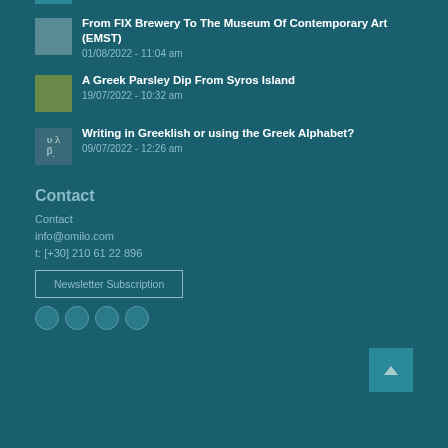[Figure (photo): Thumbnail image of FIX Brewery / Museum of Contemporary Art article]
From FIX Brewery To The Museum Of Contemporary Art (EMST)
01/08/2022 - 11:04 am
[Figure (photo): Thumbnail image of Greek parsley dip article]
A Greek Parsley Dip From Syros Island
19/07/2022 - 10:32 am
[Figure (photo): Thumbnail image of Greeklish/Greek Alphabet article with Greek letters]
Writing in Greeklish or using the Greek Alphabet?
09/07/2022 - 12:26 am
Contact
Contact
info@omilo.com
t: [+30] 210 61 22 896
Newsletter Subscription